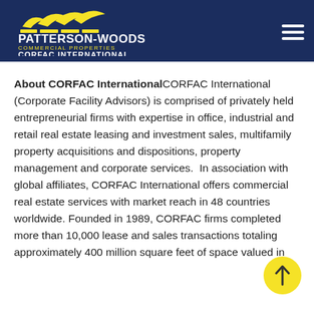PATTERSON-WOODS COMMERCIAL PROPERTIES CORFAC INTERNATIONAL
About CORFAC International CORFAC International (Corporate Facility Advisors) is comprised of privately held entrepreneurial firms with expertise in office, industrial and retail real estate leasing and investment sales, multifamily property acquisitions and dispositions, property management and corporate services.  In association with global affiliates, CORFAC International offers commercial real estate services with market reach in 48 countries worldwide. Founded in 1989, CORFAC firms completed more than 10,000 lease and sales transactions totaling approximately 400 million square feet of space valued in